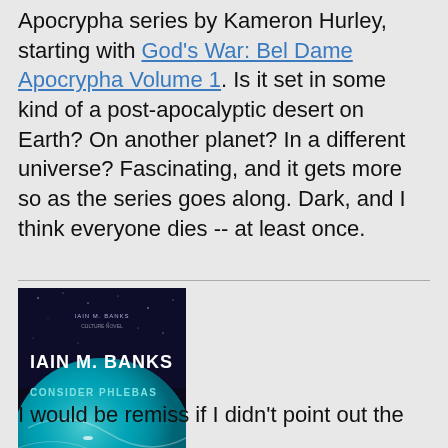Apocrypha series by Kameron Hurley, starting with God's War: Bel Dame Apocrypha Volume 1. Is it set in some kind of a post-apocalyptic desert on Earth? On another planet? In a different universe? Fascinating, and it gets more so as the series goes along. Dark, and I think everyone dies -- at least once.
[Figure (photo): Book cover of 'Consider Phlebas' by Iain M. Banks — dark background with teal ocean/planet imagery, white bold title text]
I would be remiss if I didn't point out the